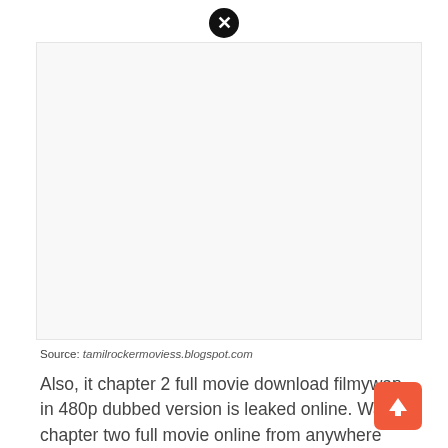[Figure (other): Close/dismiss button (black circle with white X) at top center of page]
[Figure (other): Large blank white advertisement or image area]
Source: tamilrockermoviess.blogspot.com
Also, it chapter 2 full movie download filmywap in 480p dubbed version is leaked online. Watch it chapter two full movie online from anywhere without any interruption and for fr.
[Figure (other): Orange/red square button with upward arrow (scroll-to-top button)]
[Figure (other): Close/dismiss button (black circle with white X) inline in text]